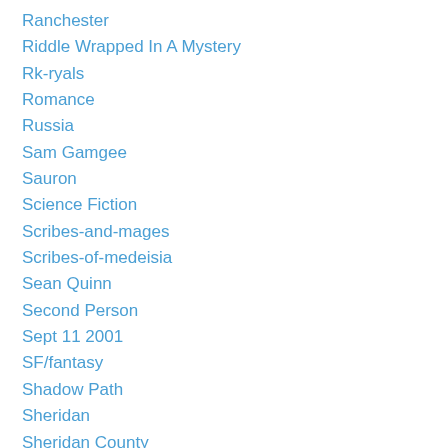Ranchester
Riddle Wrapped In A Mystery
Rk-ryals
Romance
Russia
Sam Gamgee
Sauron
Science Fiction
Scribes-and-mages
Scribes-of-medeisia
Sean Quinn
Second Person
Sept 11 2001
SF/fantasy
Shadow Path
Sheridan
Sheridan County
Sister Hoods
S-l-wallace
Star Trek